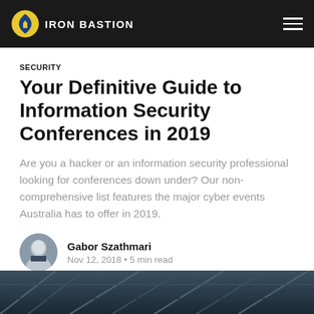IRON BASTION
SECURITY
Your Definitive Guide to Information Security Conferences in 2019
Are you a hacker or an information security professional looking for conferences down under? Our non-comprehensive list features the major cyber events Australia has to offer in 2019.
Gabor Szathmari
Nov 12, 2018 • 5 min read
[Figure (photo): Bottom architectural photo strip showing structural steel framework against sky]